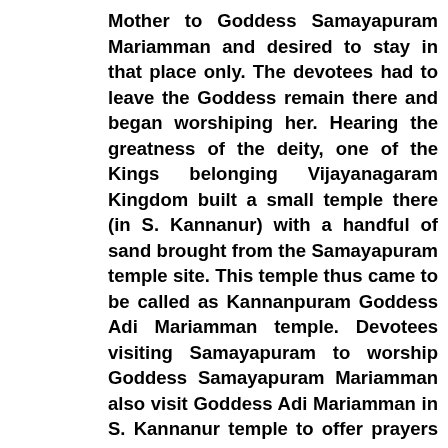Mother to Goddess Samayapuram Mariamman and desired to stay in that place only. The devotees had to leave the Goddess remain there and began worshiping her. Hearing the greatness of the deity, one of the Kings belonging Vijayanagaram Kingdom built a small temple there (in S. Kannanur) with a handful of sand brought from the Samayapuram temple site. This temple thus came to be called as Kannanpuram Goddess Adi Mariamman temple. Devotees visiting Samayapuram to worship Goddess Samayapuram Mariamman also visit Goddess Adi Mariamman in S. Kannanur temple to offer prayers considering her to the Mother Goddess of Samayapuram Mariamman. Even this day in the annual festival of Goddess Samayapuram Mariamman, it is stated that the Urchava Murthy of Goddess Samayapuram